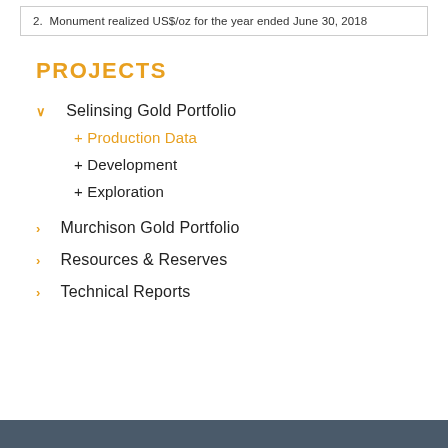2.  Monument realized US$/oz for the year ended June 30, 2018
PROJECTS
↓  Selinsing Gold Portfolio
+ Production Data
+ Development
+ Exploration
> Murchison Gold Portfolio
> Resources & Reserves
> Technical Reports